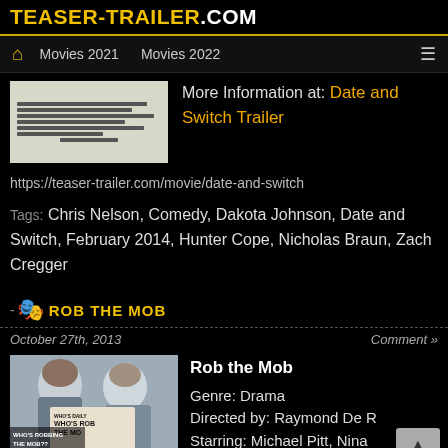TEASER-TRAILER.COM
Movies 2021   Movies 2022
[Figure (photo): Thumbnail image of Date and Switch movie — appears to be a text/credits image on light background]
More Information at: Date and Switch Trailer
https://teaser-trailer.com/movie/date-and-switch
Tags: Chris Nelson, Comedy, Dakota Johnson, Date and Switch, February 2014, Hunter Cope, Nicholas Braun, Zach Cregger
ROB THE MOB
October 27th, 2013
Comment »
[Figure (photo): Photo of two people holding newspaper with headline WHO'S ROBBING THE MOB??]
Rob the Mob
Genre: Drama
Directed by: Raymond De R...
Starring: Michael Pitt, Nina